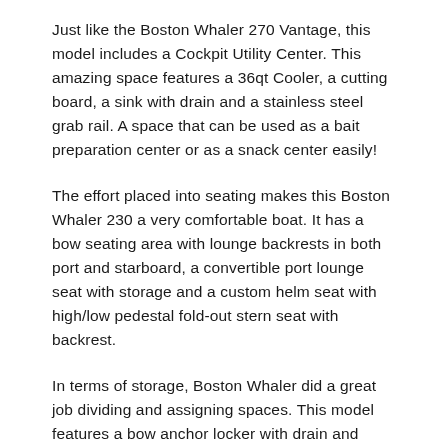Just like the Boston Whaler 270 Vantage, this model includes a Cockpit Utility Center. This amazing space features a 36qt Cooler, a cutting board, a sink with drain and a stainless steel grab rail. A space that can be used as a bait preparation center or as a snack center easily!
The effort placed into seating makes this Boston Whaler 230 a very comfortable boat. It has a bow seating area with lounge backrests in both port and starboard, a convertible port lounge seat with storage and a custom helm seat with high/low pedestal fold-out stern seat with backrest.
In terms of storage, Boston Whaler did a great job dividing and assigning spaces. This model features a bow anchor locker with drain and anchor storage rack Captain's pocket, console storage with stainless steel latch and storage system for life jackets, dock